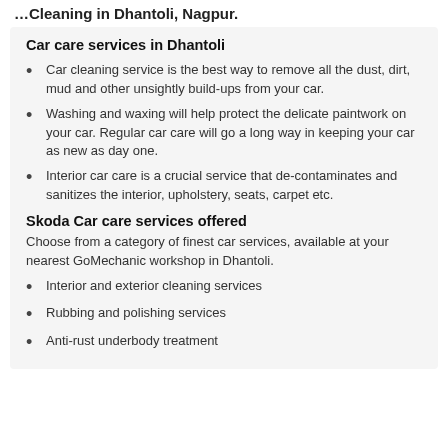…Cleaning in Dhantoli, Nagpur.
Car care services in Dhantoli
Car cleaning service is the best way to remove all the dust, dirt, mud and other unsightly build-ups from your car.
Washing and waxing will help protect the delicate paintwork on your car. Regular car care will go a long way in keeping your car as new as day one.
Interior car care is a crucial service that de-contaminates and sanitizes the interior, upholstery, seats, carpet etc.
Skoda Car care services offered
Choose from a category of finest car services, available at your nearest GoMechanic workshop in Dhantoli.
Interior and exterior cleaning services
Rubbing and polishing services
Anti-rust underbody treatment